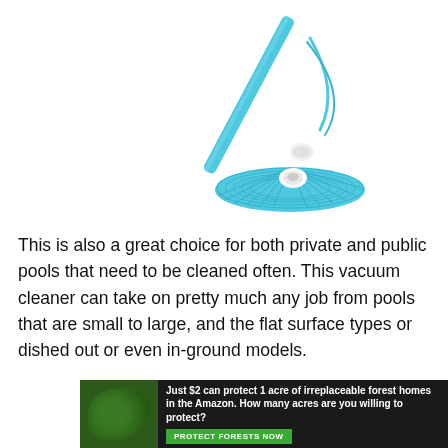[Figure (photo): A blue pool vacuum cleaner with a circular flat disc base and a long blue handle/pole with a strap, shown on a white background.]
This is also a great choice for both private and public pools that need to be cleaned often. This vacuum cleaner can take on pretty much any job from pools that are small to large, and the flat surface types or dished out or even in-ground models.
[Figure (infographic): Advertisement banner with dark background showing a forest image on the left and text: 'Just $2 can protect 1 acre of irreplaceable forest homes in the Amazon. How many acres are you willing to protect?' with a green 'PROTECT FORESTS NOW' button.]